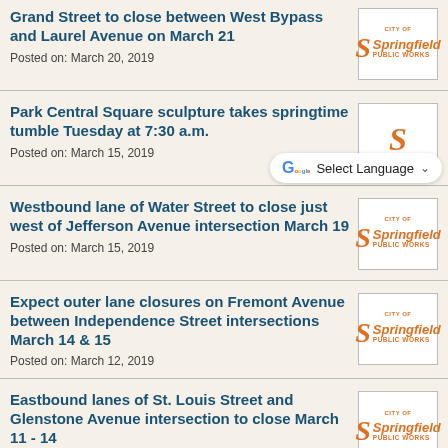Grand Street to close between West Bypass and Laurel Avenue on March 21
Posted on: March 20, 2019
[Figure (logo): City of Springfield Public Works orange logo]
Park Central Square sculpture takes springtime tumble Tuesday at 7:30 a.m.
Posted on: March 15, 2019
[Figure (logo): City of Springfield Public Works orange logo]
[Figure (screenshot): Google Translate Select Language dropdown overlay]
Westbound lane of Water Street to close just west of Jefferson Avenue intersection March 19
Posted on: March 15, 2019
[Figure (logo): City of Springfield Public Works orange logo]
Expect outer lane closures on Fremont Avenue between Independence Street intersections March 14 & 15
Posted on: March 12, 2019
[Figure (logo): City of Springfield Public Works orange logo]
Eastbound lanes of St. Louis Street and Glenstone Avenue intersection to close March 11 - 14
[Figure (logo): City of Springfield Public Works orange logo]